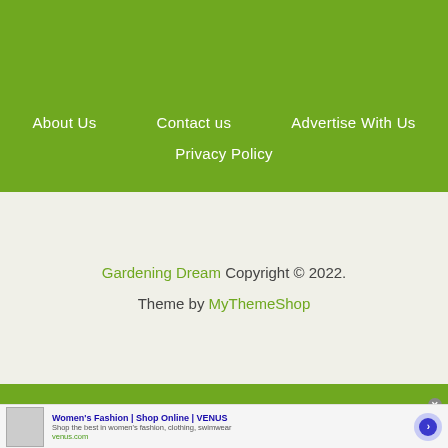About Us   Contact us   Advertise With Us   Privacy Policy
Gardening Dream Copyright © 2022.
Theme by MyThemeShop
[Figure (screenshot): Advertisement banner for Women's Fashion | Shop Online | VENUS with thumbnail image, description text, and navigation arrow button]